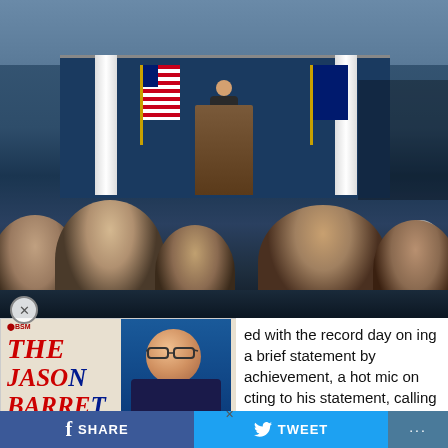[Figure (photo): Press briefing room photo showing a person at a podium with the Presidential seal, US flag, and audience members in foreground with backs to camera. Camera crew visible on right side.]
[Figure (infographic): Advertisement overlay for 'The Jason Barrett Podcast' featuring Paul Finebaum with text 'PAUL FINEBAUM KNOWS THE POWER OF THE LISTENERS']
ed with the record day on ing a brief statement by achievement, a hot mic on cting to his statement, calling it "weird as s**t." Another reporter said it was "one of the
SHARE   TWEET   ...